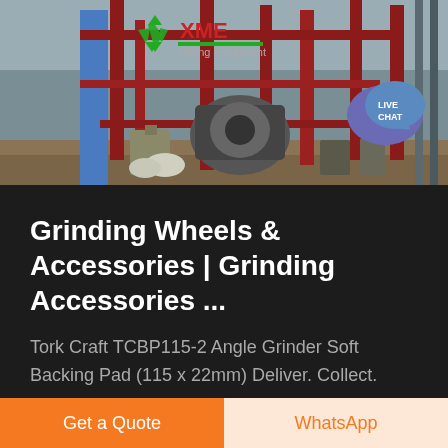[Figure (photo): Industrial machinery/equipment at a facility with red metal frames, blue column, and the XME Mining Equipment logo with green recycling symbol visible in the upper portion. A 'LIVE CHAT' speech bubble icon is in the upper right area.]
Grinding Wheels & Accessories | Grinding Accessories ...
Tork Craft TCBP115-2 Angle Grinder Soft Backing Pad (115 x 22mm) Deliver. Collect.
Get a Quote
WhatsApp